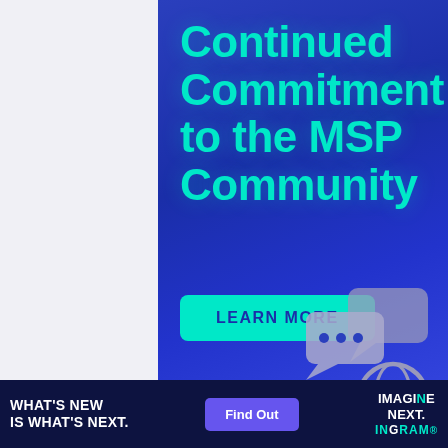Continued Commitment to the MSP Community
LEARN MORE
[Figure (illustration): Chat bubbles icon, globe/world icon, and shield with lightning bolt icon arranged in the lower right portion of the banner]
WHAT'S NEW IS WHAT'S NEXT.
Find Out
IMAGINE NEXT.
INGRAM